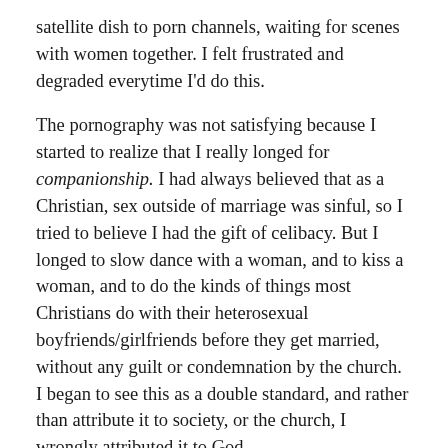satellite dish to porn channels, waiting for scenes with women together. I felt frustrated and degraded everytime I'd do this.
The pornography was not satisfying because I started to realize that I really longed for companionship. I had always believed that as a Christian, sex outside of marriage was sinful, so I tried to believe I had the gift of celibacy. But I longed to slow dance with a woman, and to kiss a woman, and to do the kinds of things most Christians do with their heterosexual boyfriends/girlfriends before they get married, without any guilt or condemnation by the church. I began to see this as a double standard, and rather than attribute it to society, or the church, I wrongly attributed it to God.
I began to be angry at God for my condition. God seemed cruel, sadistic. Why would He curse me with sexual desires, and give me no legitimate way to fulfill them? Why would